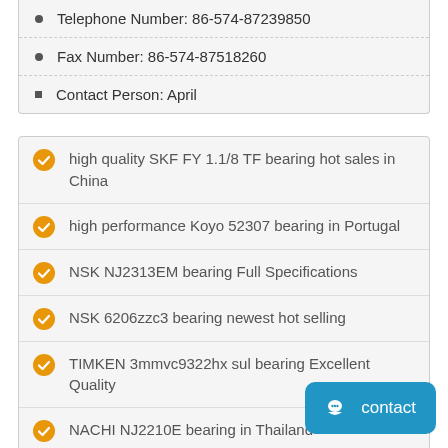Telephone Number: 86-574-87239850
Fax Number: 86-574-87518260
Contact Person: April
high quality SKF FY 1.1/8 TF bearing hot sales in China
high performance Koyo 52307 bearing in Portugal
NSK NJ2313EM bearing Full Specifications
NSK 6206zzc3 bearing newest hot selling
TIMKEN 3mmvc9322hx sul bearing Excellent Quality
NACHI NJ2210E bearing in Thailand
SKF 2 7200 BECBY DR bearing in UK